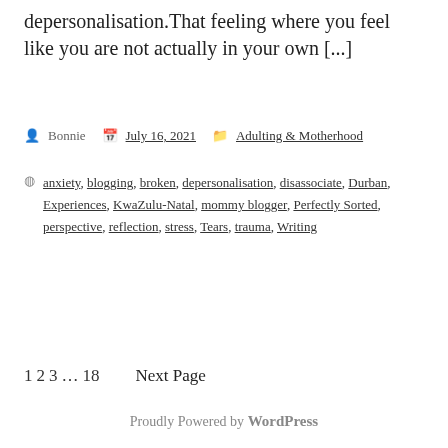depersonalisation.That feeling where you feel like you are not actually in your own [...]
Bonnie  July 16, 2021  Adulting & Motherhood
anxiety, blogging, broken, depersonalisation, disassociate, Durban, Experiences, KwaZulu-Natal, mommy blogger, Perfectly Sorted, perspective, reflection, stress, Tears, trauma, Writing
1 2 3 … 18  Next Page
Proudly Powered by WordPress